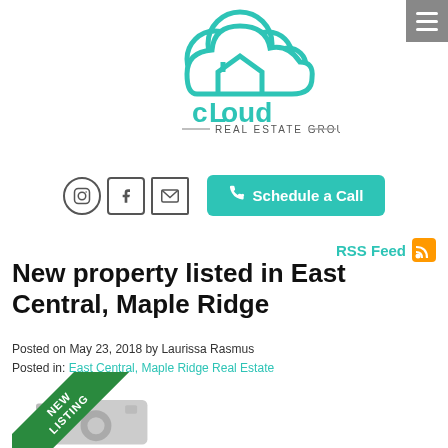[Figure (logo): Cloud Real Estate Group logo — teal cloud shape with a house roofline inside, text 'cLoud' in teal and 'REAL ESTATE GROUP' below]
[Figure (other): Social media icons (Instagram, Facebook, Email) and a teal 'Schedule a Call' button]
RSS Feed
New property listed in East Central, Maple Ridge
Posted on May 23, 2018 by Laurissa Rasmus
Posted in: East Central, Maple Ridge Real Estate
[Figure (photo): Property listing image placeholder with camera icon and green 'NEW LISTING' diagonal banner]